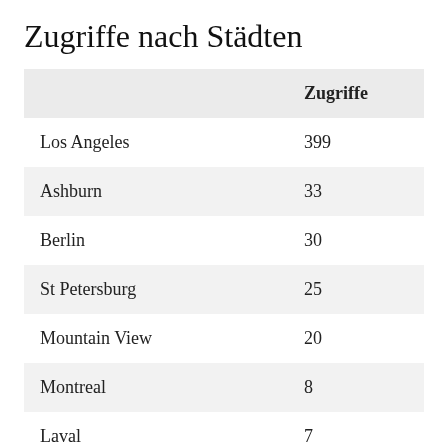Zugriffe nach Städten
|  | Zugriffe |
| --- | --- |
| Los Angeles | 399 |
| Ashburn | 33 |
| Berlin | 30 |
| St Petersburg | 25 |
| Mountain View | 20 |
| Montreal | 8 |
| Laval | 7 |